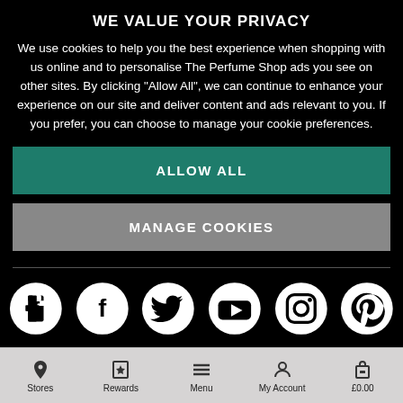WE VALUE YOUR PRIVACY
We use cookies to help you the best experience when shopping with us online and to personalise The Perfume Shop ads you see on other sites. By clicking "Allow All", we can continue to enhance your experience on our site and deliver content and ads relevant to you. If you prefer, you can choose to manage your cookie preferences.
ALLOW ALL
MANAGE COOKIES
[Figure (infographic): Social media icons row: Facebook, Twitter, YouTube, Instagram, Pinterest — white circle icons on black background]
Copyright © 2022 The Perfume Shop Limited
Stores   Rewards   Menu   My Account   £0.00